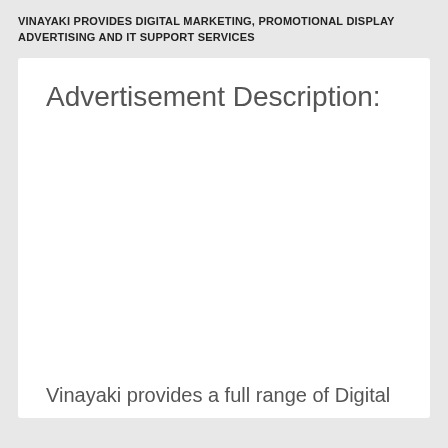VINAYAKI PROVIDES DIGITAL MARKETING, PROMOTIONAL DISPLAY ADVERTISING AND IT SUPPORT SERVICES
Advertisement Description:
Vinayaki provides a full range of Digital